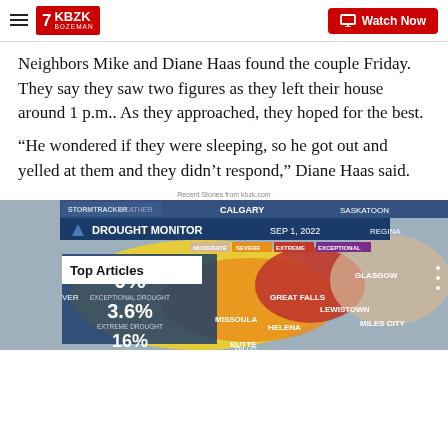KBZK BOZEMAN | Watch Now
Neighbors Mike and Diane Haas found the couple Friday. They say they saw two figures as they left their house around 1 p.m.. As they approached, they hoped for the best.
“He wondered if they were sleeping, so he got out and yelled at them and they didn’t respond,” Diane Haas said.
Recent Stories from kbzk.com
[Figure (screenshot): Drought Monitor map screenshot showing Montana and surrounding region, dated SEP 1, 2022. Shows 0% Exceptional Drought, 3.6% Extreme Drought, 16% visible. Cities labeled: Great Falls, Lewistown, Missoula, Helena, Butte, Glasgow, Miles City, Calgary, Regina, Saskatoon. Overlaid with 'Top Articles' badge.]